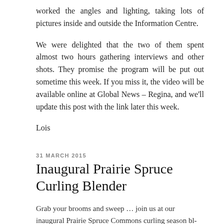worked the angles and lighting, taking lots of pictures inside and outside the Information Centre.
We were delighted that the two of them spent almost two hours gathering interviews and other shots. They promise the program will be put out sometime this week. If you miss it, the video will be available online at Global News – Regina, and we'll update this post with the link later this week.
Lois
31 MARCH 2015
Inaugural Prairie Spruce Curling Blender
Grab your brooms and sweep … join us at our inaugural Prairie Spruce Commons curling season bl-Ender!